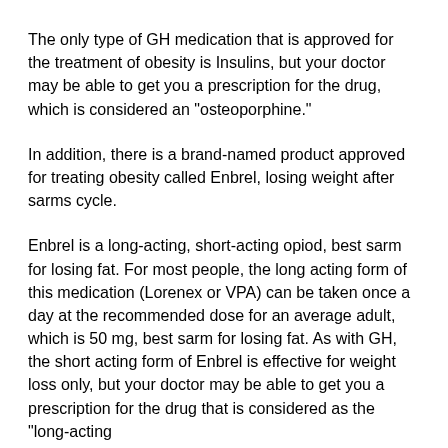The only type of GH medication that is approved for the treatment of obesity is Insulins, but your doctor may be able to get you a prescription for the drug, which is considered an "osteoporphine."
In addition, there is a brand-named product approved for treating obesity called Enbrel, losing weight after sarms cycle.
Enbrel is a long-acting, short-acting opiod, best sarm for losing fat. For most people, the long acting form of this medication (Lorenex or VPA) can be taken once a day at the recommended dose for an average adult, which is 50 mg, best sarm for losing fat. As with GH, the short acting form of Enbrel is effective for weight loss only, but your doctor may be able to get you a prescription for the drug that is considered as the "long-acting